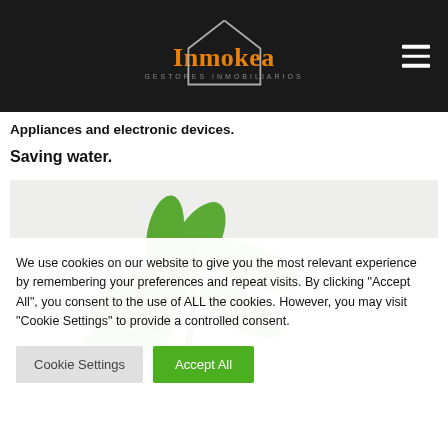Inmokea GESTORES INMOBILIARIOS
Appliances and electronic devices.
Saving water.
[Figure (photo): A green plant with leaves against a light grey/white background, cropped showing stem and upper leaves]
We use cookies on our website to give you the most relevant experience by remembering your preferences and repeat visits. By clicking "Accept All", you consent to the use of ALL the cookies. However, you may visit "Cookie Settings" to provide a controlled consent.
Cookie Settings  |  Accept All